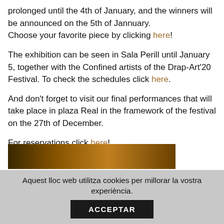prolonged until the 4th of January, and the winners will be announced on the 5th of Jannuary.
Choose your favorite piece by clicking here!
The exhibition can be seen in Sala Perill until January 5, together with the Confined artists of the Drap-Art'20 Festival. To check the schedules click here.
And don't forget to visit our final performances that will take place in plaza Real in the framework of the festival on the 27th of December.
For reservations click here!
[Figure (photo): Partial view of a darkly lit interior scene, warm brown/golden tones]
Aquest lloc web utilitza cookies per millorar la vostra experiència.
ACCEPTAR